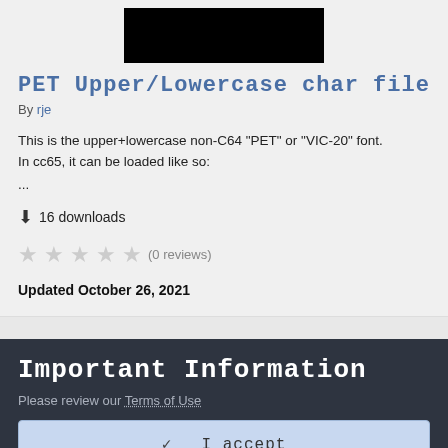[Figure (screenshot): Screenshot thumbnail showing a black rectangle on gray background representing a character file preview]
PET Upper/Lowercase char file
By rje
This is the upper+lowercase non-C64 "PET" or "VIC-20" font.
In cc65, it can be loaded like so:
...
⬇ 16 downloads
★★★★★ (0 reviews)
Updated October 26, 2021
Important Information
Please review our Terms of Use
✓  I accept